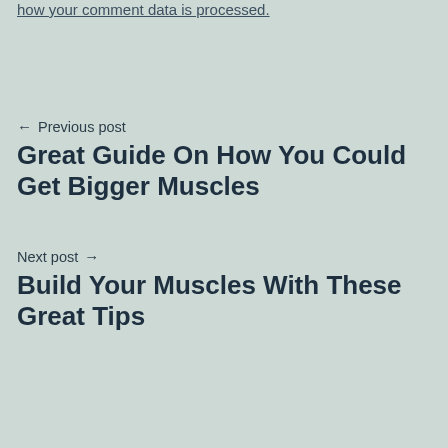how your comment data is processed.
← Previous post
Great Guide On How You Could Get Bigger Muscles
Next post →
Build Your Muscles With These Great Tips